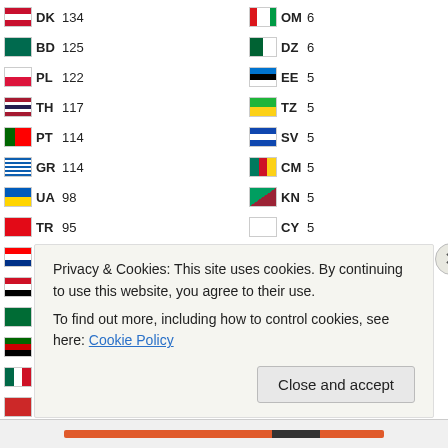Country visitor counts list: DK 134, BD 125, PL 122, TH 117, PT 114, GR 114, UA 98, TR 95, HR 86, EG 85, SA 84, KE 78, MX 77, NP 75, HU 73, AT 73, HK 72, AR 72, GE 62, KR 47, SK 40, OM 6, DZ 6, EE 5, TZ 5, SV 5, CM 5, KN 5, CY 5, IM 4, CV 4, MN 4, MD 3, UY 3, MV 3, FJ 3, UG 3, AL 3, VI 3, PS 2, KZ 2, AO 2
Privacy & Cookies: This site uses cookies. By continuing to use this website, you agree to their use.
To find out more, including how to control cookies, see here: Cookie Policy